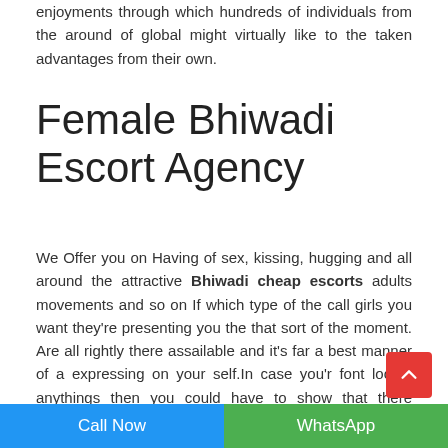enjoyments through which hundreds of individuals from the around of global might virtually like to the taken advantages from their own.
Female Bhiwadi Escort Agency
We Offer you on Having of sex, kissing, hugging and all around the attractive Bhiwadi cheap escorts adults movements and so on If which type of the call girls you want they're presenting you the that sort of the moment. Are all rightly there assailable and it's far a best manner of a expressing on your self.In case you'r font locate anythings then you could have to show that there something very sensual as-nicely-as valuables which need to end up enormous components of typical trends and amusement. Most of a length of the time it is a type of Bi
Call Now   WhatsApp